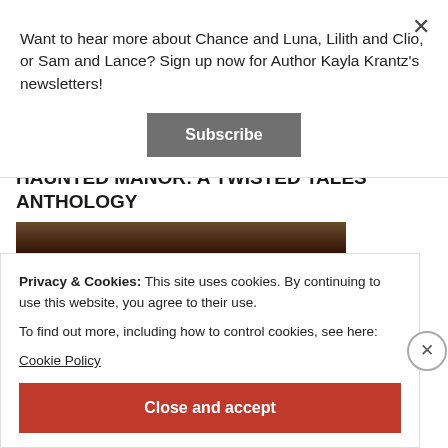Want to hear more about Chance and Luna, Lilith and Clio, or Sam and Lance? Sign up now for Author Kayla Krantz's newsletters!
Subscribe
HAUNTED MANOR: A TWISTED TALES ANTHOLOGY
[Figure (photo): Dark brown textured book cover image strip]
Privacy & Cookies: This site uses cookies. By continuing to use this website, you agree to their use.
To find out more, including how to control cookies, see here:
Cookie Policy
Close and accept